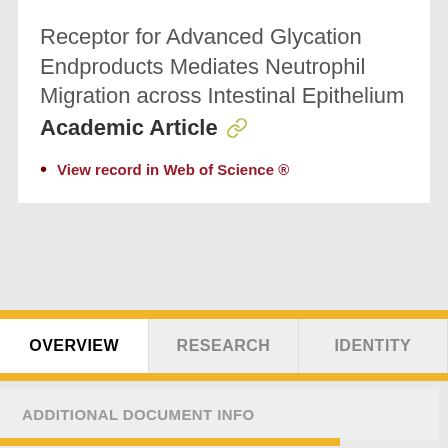Receptor for Advanced Glycation Endproducts Mediates Neutrophil Migration across Intestinal Epithelium Academic Article
View record in Web of Science ®
OVERVIEW
RESEARCH
IDENTITY
ADDITIONAL DOCUMENT INFO